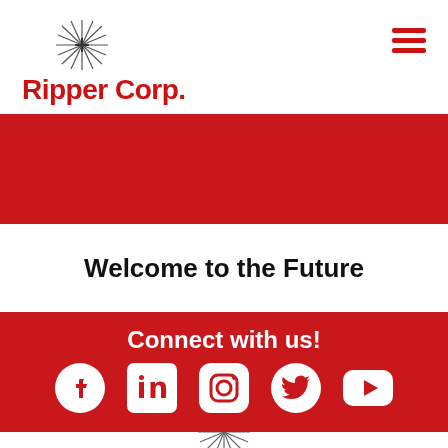[Figure (logo): Ripper Corp. logo with starburst icon and red bold text]
[Figure (other): Red banner/hero section]
Welcome to the Future
Connect with us!
[Figure (other): Social media icons: Facebook, LinkedIn, Instagram, Twitter, YouTube]
[Figure (logo): Ripper Corp. starburst icon at bottom]